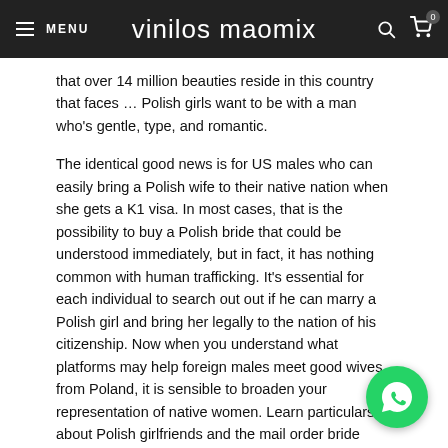MENU | vinilos maomix
that over 14 million beauties reside in this country that faces … Polish girls want to be with a man who's gentle, type, and romantic.
The identical good news is for US males who can easily bring a Polish wife to their native nation when she gets a K1 visa. In most cases, that is the possibility to buy a Polish bride that could be understood immediately, but in fact, it has nothing common with human trafficking. It's essential for each individual to search out out if he can marry a Polish girl and bring her legally to the nation of his citizenship. Now when you understand what platforms may help foreign males meet good wives from Poland, it is sensible to broaden your representation of native women. Learn particulars about Polish girlfriends and the mail order bride trade and visit website when you get completely ready for the hunt fo
[Figure (logo): WhatsApp chat button (green circle with phone icon)]